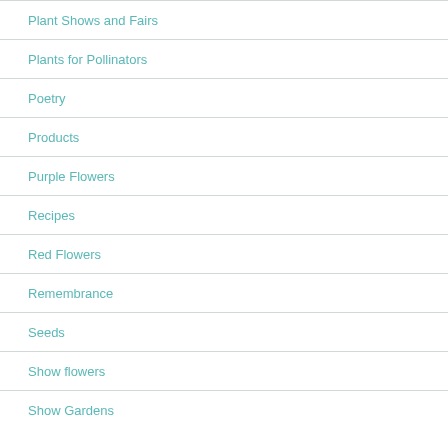Plant Shows and Fairs
Plants for Pollinators
Poetry
Products
Purple Flowers
Recipes
Red Flowers
Remembrance
Seeds
Show flowers
Show Gardens